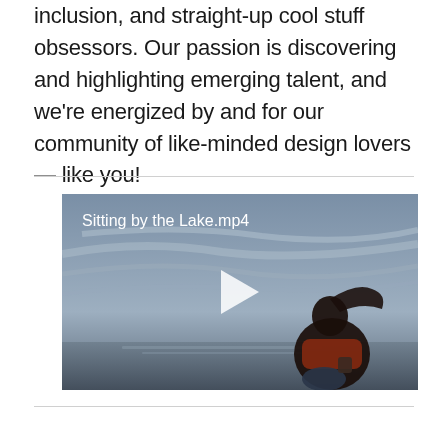inclusion, and straight-up cool stuff obsessors. Our passion is discovering and highlighting emerging talent, and we're energized by and for our community of like-minded design lovers — like you!
[Figure (screenshot): Video thumbnail showing a person sitting by a lake with a cloudy sky, with title 'Sitting by the Lake.mp4' and a play button overlay]